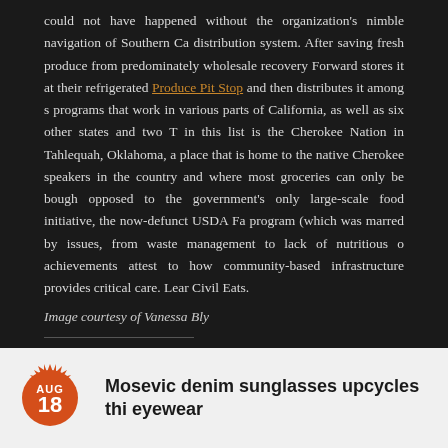could not have happened without the organization's nimble navigation of Southern Ca distribution system. After saving fresh produce from predominately wholesale recovery Forward stores it at their refrigerated Produce Pit Stop and then distributes it among s programs that work in various parts of California, as well as six other states and two T in this list is the Cherokee Nation in Tahlequah, Oklahoma, a place that is home to the native Cherokee speakers in the country and where most groceries can only be bough opposed to the government's only large-scale food initiative, the now-defunct USDA Fa program (which was marred by issues, from waste management to lack of nutritious o achievements attest to how community-based infrastructure provides critical care. Lear Civil Eats.
Image courtesy of Vanessa Bly
Share this:
No Comments
[Figure (other): Wood panel texture strip]
AUG 18 — Mosevic denim sunglasses upcycles thi eyewear